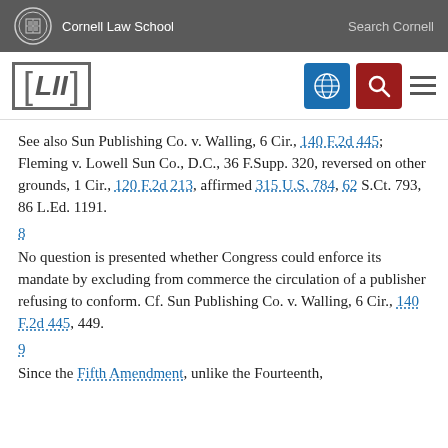Cornell Law School | Search Cornell
[Figure (logo): LII Legal Information Institute logo with navigation icons]
See also Sun Publishing Co. v. Walling, 6 Cir., 140 F.2d 445; Fleming v. Lowell Sun Co., D.C., 36 F.Supp. 320, reversed on other grounds, 1 Cir., 120 F.2d 213, affirmed 315 U.S. 784, 62 S.Ct. 793, 86 L.Ed. 1191.
8
No question is presented whether Congress could enforce its mandate by excluding from commerce the circulation of a publisher refusing to conform. Cf. Sun Publishing Co. v. Walling, 6 Cir., 140 F.2d 445, 449.
9
Since the Fifth Amendment, unlike the Fourteenth,